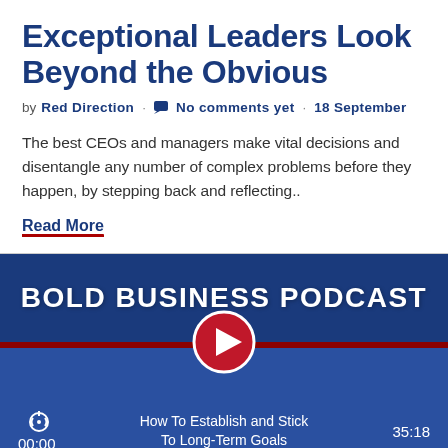Exceptional Leaders Look Beyond the Obvious
by Red Direction · No comments yet · 18 September
The best CEOs and managers make vital decisions and disentangle any number of complex problems before they happen, by stepping back and reflecting..
Read More
[Figure (screenshot): Bold Business Podcast player widget with dark blue banner showing 'BOLD BUSINESS PODCAST' text, a red play button, episode title 'How To Establish and Stick To Long-Term Goals', time 00:00 and duration 35:18]